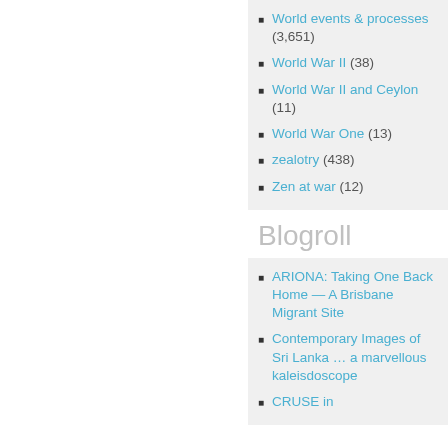World events & processes (3,651)
World War II (38)
World War II and Ceylon (11)
World War One (13)
zealotry (438)
Zen at war (12)
Blogroll
ARIONA: Taking One Back Home — A Brisbane Migrant Site
Contemporary Images of Sri Lanka … a marvellous kaleisdoscope
CRUSE in ...